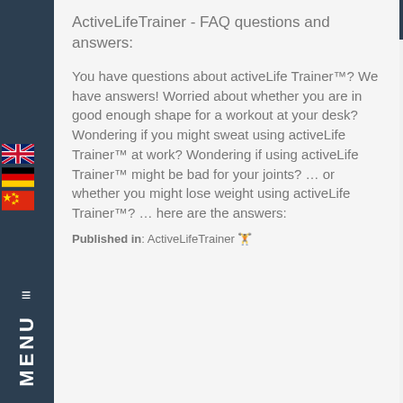ActiveLifeTrainer - FAQ questions and answers:
You have questions about activeLife Trainer™? We have answers! Worried about whether you are in good enough shape for a workout at your desk? Wondering if you might sweat using activeLife Trainer™ at work? Wondering if using activeLife Trainer™ might be bad for your joints? … or whether you might lose weight using activeLife Trainer™? … here are the answers:
Published in: ActiveLifeTrainer 🏋